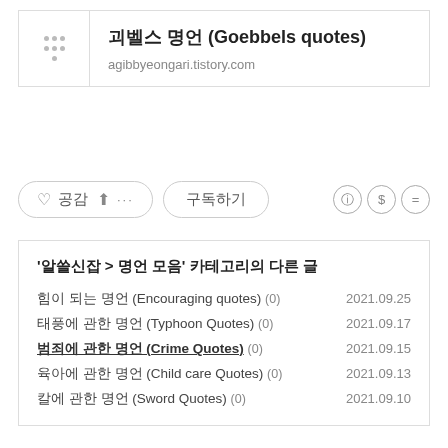괴벨스 명언 (Goebbels quotes)
agibbyeongari.tistory.com
♡ 공감 ↑ ··· 구독하기
'알쓸신잡 > 명언 모음' 카테고리의 다른 글
힘이 되는 명언 (Encouraging quotes)  (0)    2021.09.25
태풍에 관한 명언 (Typhoon Quotes)  (0)    2021.09.17
범죄에 관한 명언 (Crime Quotes)  (0)    2021.09.15
육아에 관한 명언 (Child care Quotes)  (0)    2021.09.13
칼에 관한 명언 (Sword Quotes)  (0)    2021.09.10